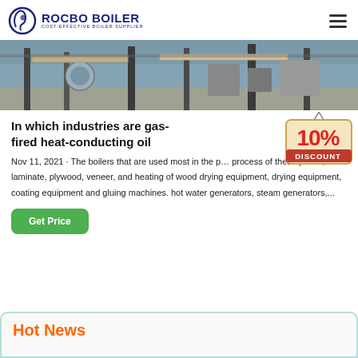ROCBO BOILER — COST-EFFECTIVE BOILER SUPPLIER
[Figure (photo): Industrial boiler equipment photo showing pipes, structural steel supports and boiler components in a factory setting]
In which industries are gas-fired heat-conducting oil
[Figure (illustration): 10% DISCOUNT badge/sticker graphic]
Nov 11, 2021 · The boilers that are used most in the process of these plants, laminate, plywood, veneer, and heating of wood drying equipment, drying equipment, coating equipment and gluing machines. hot water generators, steam generators,...
Get Price
Hot News